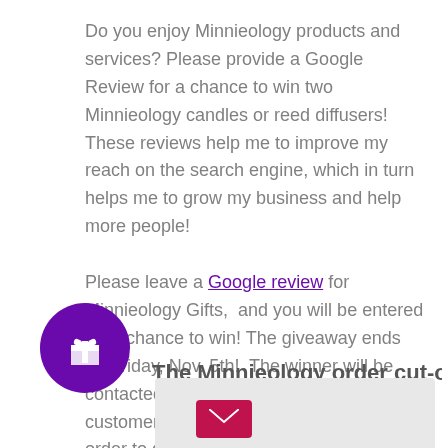Do you enjoy Minnieology products and services? Please provide a Google Review for a chance to win two Minnieology candles or reed diffusers! These reviews help me to improve my reach on the search engine, which in turn helps me to grow my business and help more people!
Please leave a Google review for Minnieology Gifts,  and you will be entered for a chance to win! The giveaway ends on Friday, Nov. 5th!  The winner will be contacted directly. Must be a Minnieology customer who has made a purchase in order to qualify.
[Figure (illustration): Purple circular gift button icon with white gift/present symbol]
The Minnieology order cut-off
[Figure (illustration): Pink/red email envelope icon button]